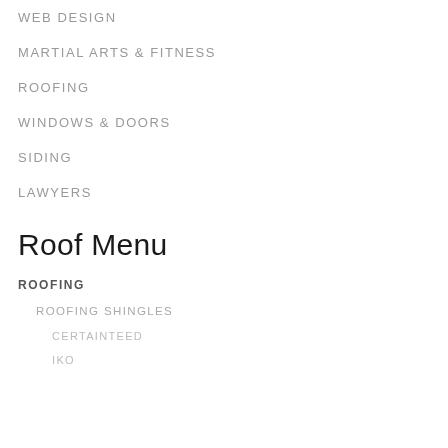WEB DESIGN
MARTIAL ARTS & FITNESS
ROOFING
WINDOWS & DOORS
SIDING
LAWYERS
Roof Menu
ROOFING
ROOFING SHINGLES
CERTAINTEED
IKO